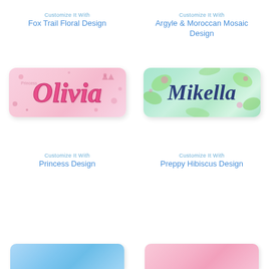Customize It With
Fox Trail Floral Design
Customize It With
Argyle & Moroccan Mosaic Design
[Figure (photo): Personalized body pillow with pink princess/floral design pattern and name 'Olivia' in large pink script lettering]
[Figure (photo): Personalized body pillow with green/teal preppy hibiscus floral design and name 'Mikella' in large navy script lettering]
Customize It With
Princess Design
Customize It With
Preppy Hibiscus Design
[Figure (photo): Partial view of personalized body pillow with blue design at bottom of page]
[Figure (photo): Partial view of personalized body pillow with pink design at bottom of page]